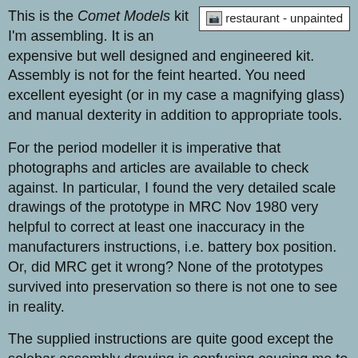This is the Comet Models kit I'm assembling. It is an expensive but well designed and engineered kit. Assembly is not for the feint hearted. You need excellent eyesight (or in my case a magnifying glass) and manual dexterity in addition to appropriate tools.
[Figure (photo): Image placeholder labeled 'restaurant - unpainted']
For the period modeller it is imperative that photographs and articles are available to check against. In particular, I found the very detailed scale drawings of the prototype in MRC Nov 1980 very helpful to correct at least one inaccuracy in the manufacturers instructions, i.e. battery box position. Or, did MRC get it wrong? None of the prototypes survived into preservation so there is not one to see in reality.
The supplied instructions are quite good except the solebar assembly drawing is confusing causing me to fit them the wrong way around! Fortunately it is a soldered section so just sweating the joints enabled disassembly without damage. With the solebars fitted correctly the bogies then interfered with them, which was easily remedied by standing them off with extra small plates soldered to the chassis.